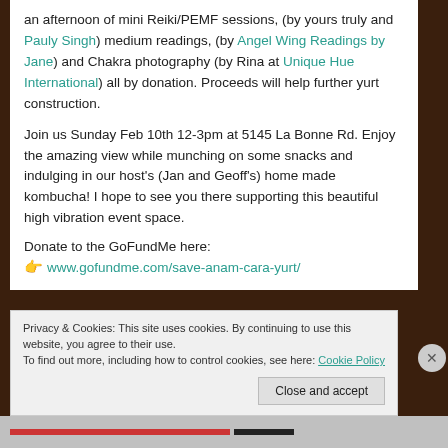an afternoon of mini Reiki/PEMF sessions, (by yours truly and Pauly Singh) medium readings, (by Angel Wing Readings by Jane) and Chakra photography (by Rina at Unique Hue International) all by donation. Proceeds will help further yurt construction.
Join us Sunday Feb 10th 12-3pm at 5145 La Bonne Rd. Enjoy the amazing view while munching on some snacks and indulging in our host's (Jan and Geoff's) home made kombucha! I hope to see you there supporting this beautiful high vibration event space.
Donate to the GoFundMe here: 👉 www.gofundme.com/save-anam-cara-yurt/
Privacy & Cookies: This site uses cookies. By continuing to use this website, you agree to their use. To find out more, including how to control cookies, see here: Cookie Policy